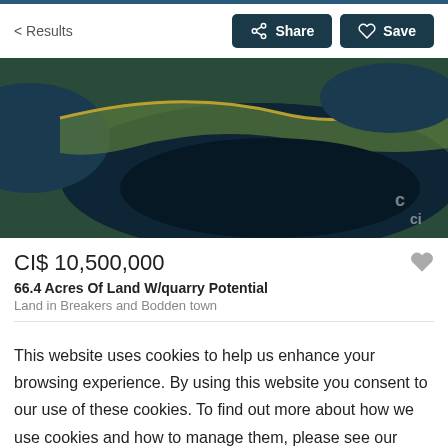< Results | Share | Save
[Figure (photo): Aerial photograph of 66.4 acres of land with quarry/water features in Breakers and Bodden town, Cayman Islands. Dark water body visible with green/brown land areas.]
CI$ 10,500,000
66.4 Acres Of Land W/quarry Potential
Land in Breakers and Bodden town
This website uses cookies to help us enhance your browsing experience. By using this website you consent to our use of these cookies. To find out more about how we use cookies and how to manage them, please see our Privacy Policy and our Terms & Conditions.
Continue